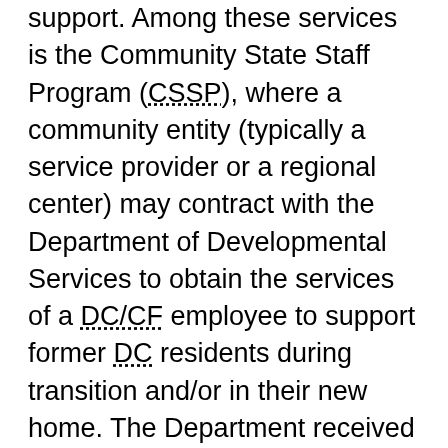support. Among these services is the Community State Staff Program (CSSP), where a community entity (typically a service provider or a regional center) may contract with the Department of Developmental Services to obtain the services of a DC/CF employee to support former DC residents during transition and/or in their new home. The Department received authorization to expand the use of the CSSP to assist in meeting the goal of successfully transitioning DC/CF clients to community living or deflecting the admission of individuals with developmental disabilities to a DC, institution of mental disorder, an out of state placement, a general acute care hospitalization, or an acute psychiatric hospital as part of SB 856, the Developmental Services 2014-